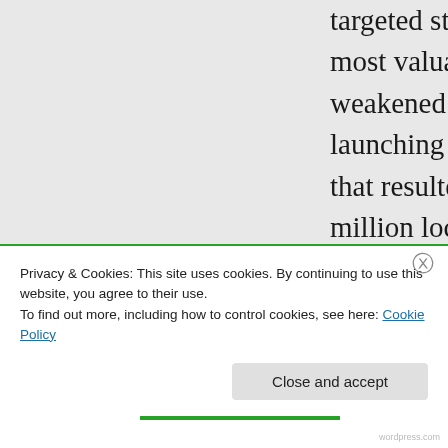targeted starting with those that held the most valuable resources. Afghanistan (a weakened country) was taken first as a launching grounds to take Iraq. (a taking that resulted in the deaths of over three-million locals, a number of loss of life in perspective that can only be compared to a Hitler
Privacy & Cookies: This site uses cookies. By continuing to use this website, you agree to their use.
To find out more, including how to control cookies, see here: Cookie Policy
Close and accept